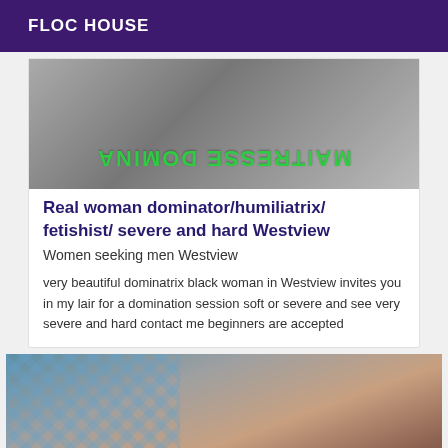FLOC HOUSE
[Figure (photo): Image with mirrored/flipped text reading MAITRESSE DOMINA in green letters over a dark background photo]
Real woman dominator/humiliatrix/ fetishist/ severe and hard Westview
Women seeking men Westview
very beautiful dominatrix black woman in Westview invites you in my lair for a domination session soft or severe and see very severe and hard contact me beginners are accepted
[Figure (photo): Close-up photo of a person's body against a blue patterned background]